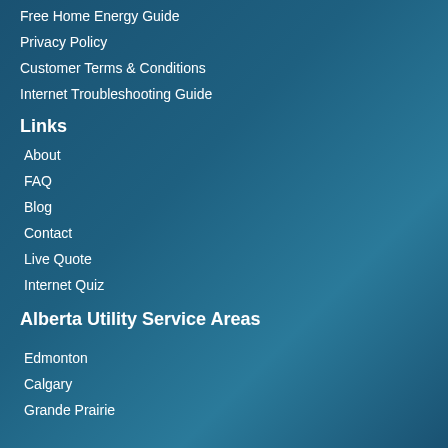Free Home Energy Guide
Privacy Policy
Customer Terms & Conditions
Internet Troubleshooting Guide
Links
About
FAQ
Blog
Contact
Live Quote
Internet Quiz
Alberta Utility Service Areas
Edmonton
Calgary
Grande Prairie